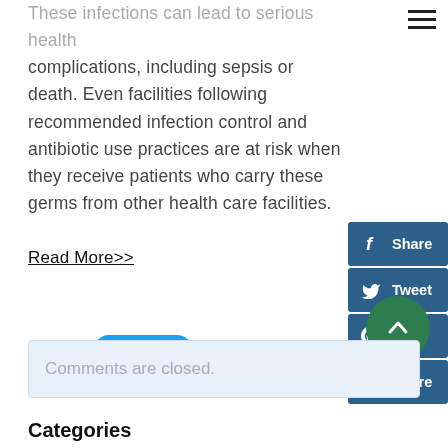These infections can lead to serious health complications, including sepsis or death. Even facilities following recommended infection control and antibiotic use practices are at risk when they receive patients who carry these germs from other health care facilities.
Read More>>
[Figure (screenshot): Social share buttons: Facebook Share, Twitter Tweet, Pinterest Pin It, LinkedIn Share]
[Figure (screenshot): Twitter Tweet button (light blue rounded button with bird icon)]
[Figure (screenshot): Green circle scroll-to-top button with upward chevron arrow]
Comments are closed.
Categories